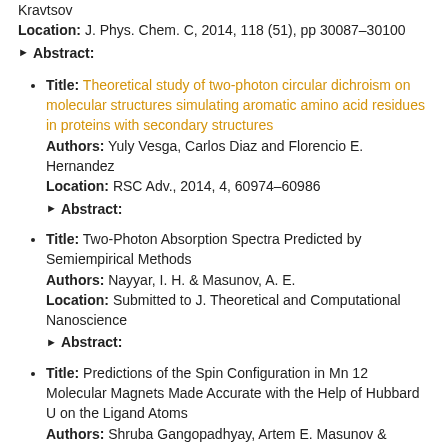Kravtsov
Location: J. Phys. Chem. C, 2014, 118 (51), pp 30087–30100
► Abstract:
Title: Theoretical study of two-photon circular dichroism on molecular structures simulating aromatic amino acid residues in proteins with secondary structures
Authors: Yuly Vesga, Carlos Diaz and Florencio E. Hernandez
Location: RSC Adv., 2014, 4, 60974–60986
► Abstract:
Title: Two-Photon Absorption Spectra Predicted by Semiempirical Methods
Authors: Nayyar, I. H. & Masunov, A. E.
Location: Submitted to J. Theoretical and Computational Nanoscience
► Abstract:
Title: Predictions of the Spin Configuration in Mn 12 Molecular Magnets Made Accurate with the Help of Hubbard U on the Ligand Atoms
Authors: Shruba Gangopadhyay, Artem E. Masunov & Svetlana Kilina
Location: J. Phys. Chem. C, 2014, 118 (35), pp 20605–20612